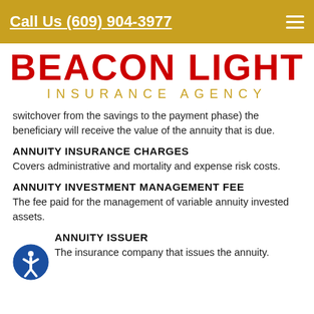Call Us (609) 904-3977
BEACON LIGHT INSURANCE AGENCY
switchover from the savings to the payment phase) the beneficiary will receive the value of the annuity that is due.
ANNUITY INSURANCE CHARGES
Covers administrative and mortality and expense risk costs.
ANNUITY INVESTMENT MANAGEMENT FEE
The fee paid for the management of variable annuity invested assets.
ANNUITY ISSUER
The insurance company that issues the annuity.